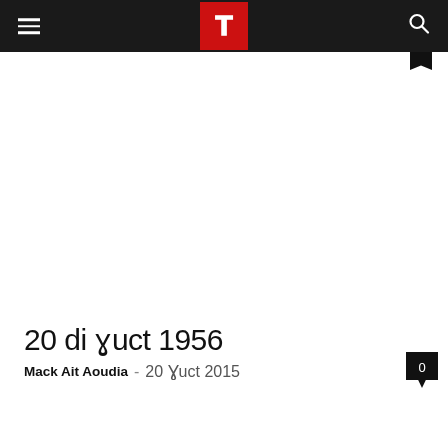T (logo) — navigation header with hamburger menu and search icon
20 di ɣuct 1956
Mack Ait Aoudia - 20 Ɣuct 2015